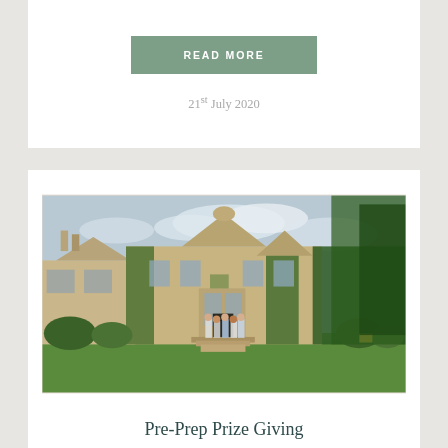READ MORE
21st July 2020
[Figure (photo): Exterior photograph of a large English country house or prep school building, with stone facade covered in ivy and climbing plants, large mullioned windows, and a group of children standing on steps in front of the entrance. Manicured green lawn in foreground.]
Pre-Prep Prize Giving